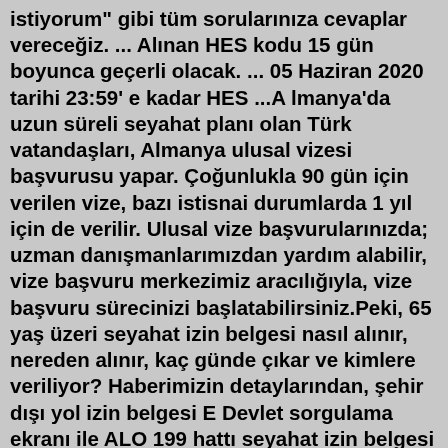istiyorum" gibi tüm sorularınıza cevaplar vereceğiz. ... Alınan HES kodu 15 gün boyunca geçerli olacak. ... 05 Haziran 2020 tarihi 23:59' e kadar HES ...A lmanya'da uzun süreli seyahat planı olan Türk vatandaşları, Almanya ulusal vizesi başvurusu yapar. Çoğunlukla 90 gün için verilen vize, bazı istisnai durumlarda 1 yıl için de verilir. Ulusal vize başvurularınızda; uzman danışmanlarımızdan yardım alabilir, vize başvuru merkezimiz aracılığıyla, vize başvuru sürecinizi başlatabilirsiniz.Peki, 65 yaş üzeri seyahat izin belgesi nasıl alınır, nereden alınır, kaç günde çıkar ve kimlere veriliyor? Haberimizin detaylarından, şehir dışı yol izin belgesi E Devlet sorgulama ekranı ile ALO 199 hattı seyahat izin belgesi almak için gerekli olan adımlar hakkında bilgi sahibi olabilirsiniz.SEYAHAT İZİN BELGESİ KAÇ GÜN GEÇERLİ? Seyahat İzin Belgeleri çıkış yapılan illerinden tek gidiş veya gidiş/geliş şeklinde düzenleniyor. Seyahat İzin Belgeleri tek gidiş için ...Jan 08, 2021 · Seyahat İzin Belgesi ALO 199 Vefa Sosyal destek hattından ya da e-Devlet üzerinden